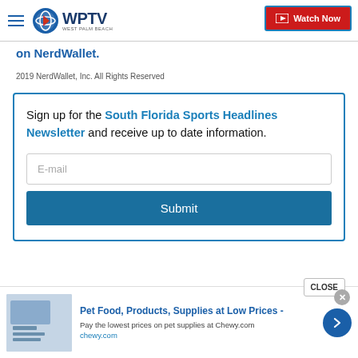WPTV Watch Now
on NerdWallet.
2019 NerdWallet, Inc. All Rights Reserved
Sign up for the South Florida Sports Headlines Newsletter and receive up to date information.
[Figure (screenshot): Email input field with placeholder text 'E-mail' and a Submit button below it, inside a newsletter signup box with a teal/blue border.]
[Figure (infographic): Advertisement bar at bottom: Pet Food, Products, Supplies at Low Prices - chewy.com ad with image and arrow button.]